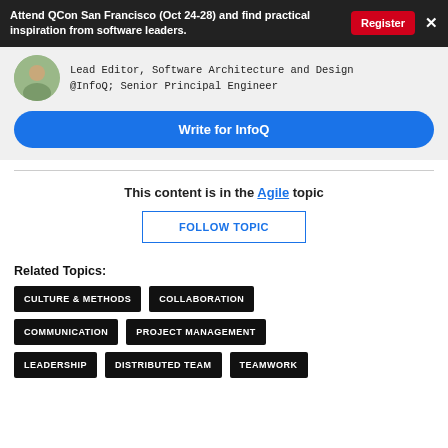Attend QCon San Francisco (Oct 24-28) and find practical inspiration from software leaders.  Register  ×
Lead Editor, Software Architecture and Design @InfoQ; Senior Principal Engineer
Write for InfoQ
This content is in the Agile topic
FOLLOW TOPIC
Related Topics:
CULTURE & METHODS
COLLABORATION
COMMUNICATION
PROJECT MANAGEMENT
LEADERSHIP
DISTRIBUTED TEAM
TEAMWORK